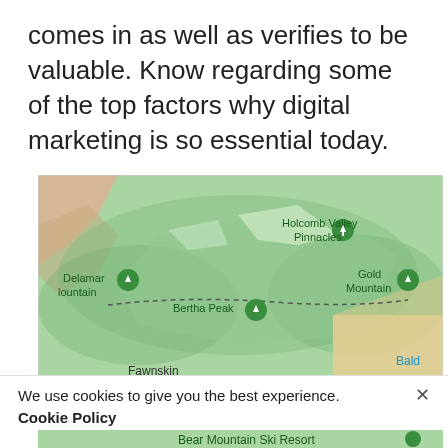comes in as well as verifies to be valuable. Know regarding some of the top factors why digital marketing is so essential today.
[Figure (map): Google Maps screenshot showing a mountainous area with location pins for Holcomb Valley Pinnacles, Delamar Mountain, Bertha Peak, Gold Mountain, Fawnskin, Big Bear, Sugarloaf Peak, and Bald (partially visible). Route 38 and Route 18 are visible. A blue lake area is shown in the lower portion.]
We use cookies to give you the best experience.
Cookie Policy
[Figure (screenshot): Partial view of a second map showing Bear Mountain Ski Resort with a location pin.]